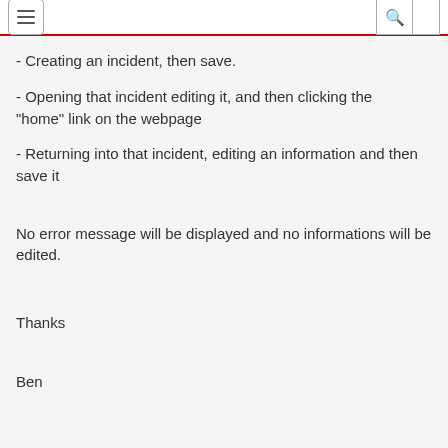- Creating an incident, then save.
- Opening that incident editing it, and then clicking the "home" link on the webpage
- Returning into that incident, editing an information and then save it
No error message will be displayed and no informations will be edited.
Thanks
Ben